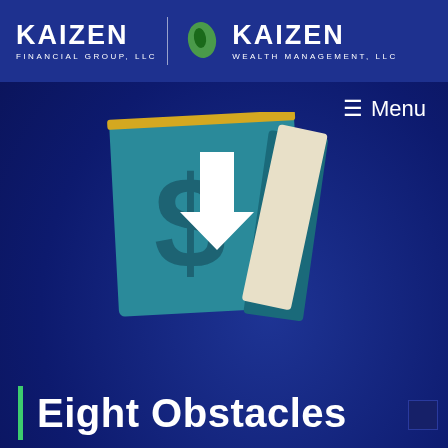[Figure (logo): Kaizen Financial Group, LLC and Kaizen Wealth Management, LLC dual logo on dark blue header bar]
≡ Menu
[Figure (illustration): 3D illustration of a dollar sign book or financial document with a white upward arrow, on a teal/dark blue background, suggesting financial growth]
Eight Obstacles